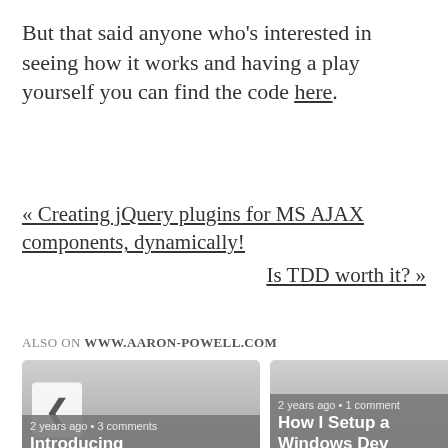But that said anyone who's interested in seeing how it works and having a play yourself you can find the code here.
« Creating jQuery plugins for MS AJAX components, dynamically!
Is TDD worth it? »
ALSO ON WWW.AARON-POWELL.COM
[Figure (other): Two article preview cards side by side. Left card shows: '2 years ago • 3 comments' and title 'Introducing' with a left arrow navigation button. Right card shows: '2 years ago • 1 comment' and title 'How I Setup a Windows Dev' with a right arrow navigation button.]